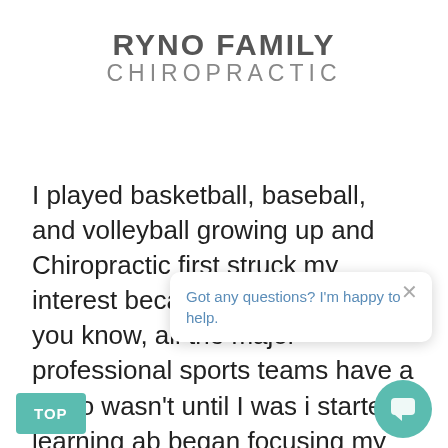RYNO FAMILY CHIROPRACTIC
I played basketball, baseball, and volleyball growing up and Chiropractic first struck my interest because of sports. As you know, all the major professional sports teams have a Chiro wasn't until I was i started learning ab began focusing my education on caring for cting moms, kids, and families.
[Figure (other): Chat popup overlay with close X button and text: Got any questions? I'm happy to help.]
[Figure (other): Teal TOP button at bottom left and teal chat bubble button at bottom right]